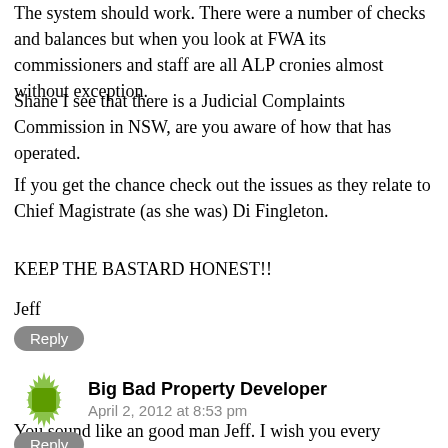The system should work. There were a number of checks and balances but when you look at FWA its commissioners and staff are all ALP cronies almost without exception.
Shane I see that there is a Judicial Complaints Commission in NSW, are you aware of how that has operated.
If you get the chance check out the issues as they relate to Chief Magistrate (as she was) Di Fingleton.
KEEP THE BASTARD HONEST!!
Jeff
Reply
Big Bad Property Developer
April 2, 2012 at 8:53 pm
You sound like an good man Jeff. I wish you every success. Fantastic that you are backing up Shane with inside info and keeping the ball rolling. All credit to you guys!
Reply